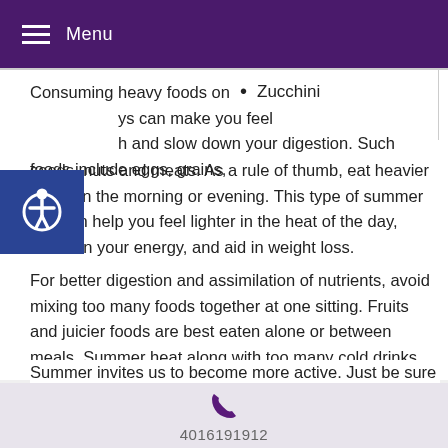Menu
Zucchini
Consuming heavy foods on hot days can make you feel sluggish and slow down your digestion. Such foods include eggs, grains, seeds, nuts and meats. As a rule of thumb, eat heavier meals in the morning or evening. This type of summer diet can help you feel lighter in the heat of the day, maintain your energy, and aid in weight loss.
For better digestion and assimilation of nutrients, avoid mixing too many foods together at one sitting. Fruits and juicier foods are best eaten alone or between meals. Summer heat along with too many cold drinks can weaken digestive organs and impair digestion; too much ice cream and iced drinks are best avoided.
Summer invites us to become more active. Just be sure to stay
4016191912